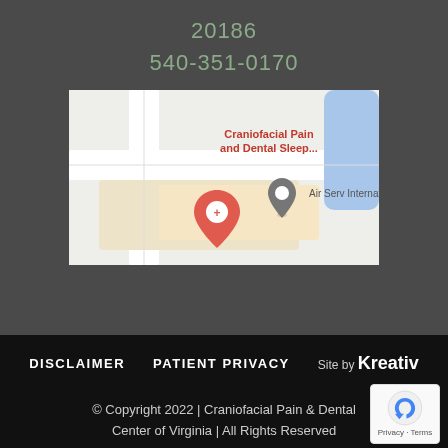20186
540-351-0170
[Figure (map): Google Maps screenshot showing location of Craniofacial Pain and Dental Sleep center with a red map pin, and Air Serv International nearby with a grey pin.]
DISCLAIMER   PATIENT PRIVACY   Site by Kreativ
© Copyright 2022 | Craniofacial Pain & Dental Center of Virginia | All Rights Reserved